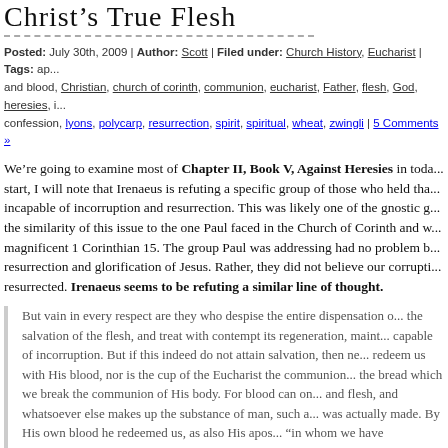Christ's True Flesh
Posted: July 30th, 2009 | Author: Scott | Filed under: Church History, Eucharist | Tags: ap... and blood, Christian, church of corinth, communion, eucharist, Father, flesh, God, heresies, i... confession, lyons, polycarp, resurrection, spirit, spiritual, wheat, zwingli | 5 Comments »
We're going to examine most of Chapter II, Book V, Against Heresies in toda... start, I will note that Irenaeus is refuting a specific group of those who held tha... incapable of incorruption and resurrection. This was likely one of the gnostic g... the similarity of this issue to the one Paul faced in the Church of Corinth and w... magnificent 1 Corinthian 15. The group Paul was addressing had no problem b... resurrection and glorification of Jesus. Rather, they did not believe our corrupti... resurrected. Irenaeus seems to be refuting a similar line of thought.
But vain in every respect are they who despise the entire dispensation o... the salvation of the flesh, and treat with contempt its regeneration, maint... capable of incorruption. But if this indeed do not attain salvation, then ne... redeem us with His blood, nor is the cup of the Eucharist the communion... the bread which we break the communion of His body. For blood can on... and flesh, and whatsoever else makes up the substance of man, such a... was actually made. By His own blood he redeemed us, as also His apos... “in whom we have redemption through His blood, even the remiss...